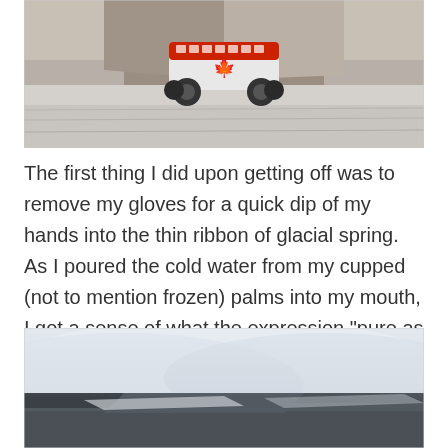[Figure (photo): A large red and white bus-like vehicle with a Canadian maple leaf emblem parked on a vast grey glacier surface, with rocky mountains in the background.]
The first thing I did upon getting off was to remove my gloves for a quick dip of my hands into the thin ribbon of glacial spring. As I poured the cold water from my cupped (not to mention frozen) palms into my mouth, I got a sense of what the expression “pure as the driven snow” actually meant.
[Figure (photo): A misty, atmospheric view of a glacier surface with swirling fog or mist, showing ice and rocky terrain.]